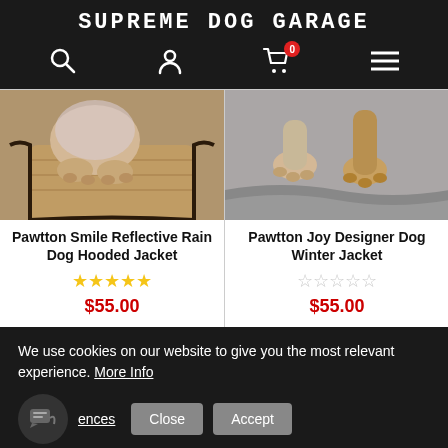SUPREME DOG GARAGE
[Figure (screenshot): Navigation bar with search, account, cart (0), and menu icons on dark background]
[Figure (photo): Dog paws on wicker chair seat — product image for Pawtton Smile Reflective Rain Dog Hooded Jacket]
[Figure (photo): Dog paws on gray carpet — product image for Pawtton Joy Designer Dog Winter Jacket]
Pawtton Smile Reflective Rain Dog Hooded Jacket ★★★★★ $55.00
Pawtton Joy Designer Dog Winter Jacket ☆☆☆☆☆ $55.00
We use cookies on our website to give you the most relevant experience. More Info
ences  Close  Accept